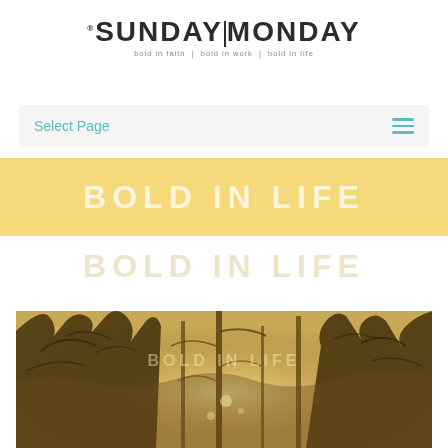[Figure (logo): SundayMonday logo with tagline 'bold in faith | bold in work | bold in life']
Select Page
BOLD IN LIFE
[Figure (photo): Sepia-toned forest scene with tall trees and misty golden light, with 'BOLD IN LIFE' text overlay]